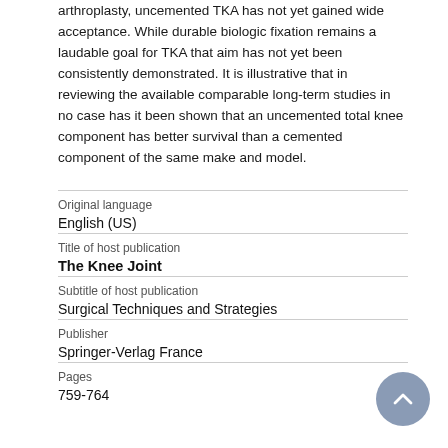arthroplasty, uncemented TKA has not yet gained wide acceptance. While durable biologic fixation remains a laudable goal for TKA that aim has not yet been consistently demonstrated. It is illustrative that in reviewing the available comparable long-term studies in no case has it been shown that an uncemented total knee component has better survival than a cemented component of the same make and model.
| Original language | English (US) |
| Title of host publication | The Knee Joint |
| Subtitle of host publication | Surgical Techniques and Strategies |
| Publisher | Springer-Verlag France |
| Pages | 759-764 |